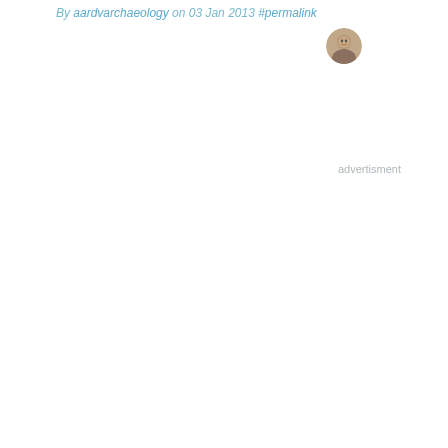By aardvarchaeology on 03 Jan 2013 #permalink
[Figure (photo): Small circular avatar photo of a person, positioned to the right of the byline text]
advertisment